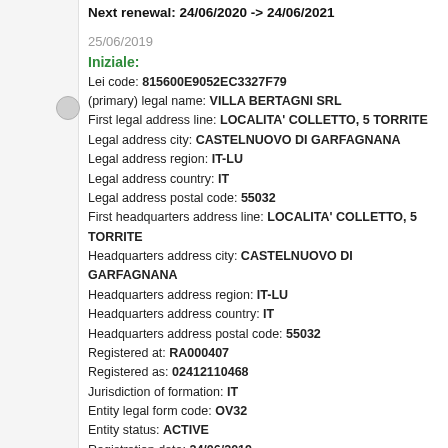Next renewal: 24/06/2020 -> 24/06/2021
25/06/2019
Iniziale:
Lei code: 815600E9052EC3327F79
(primary) legal name: VILLA BERTAGNI SRL
First legal address line: LOCALITA' COLLETTO, 5 TORRITE
Legal address city: CASTELNUOVO DI GARFAGNANA
Legal address region: IT-LU
Legal address country: IT
Legal address postal code: 55032
First headquarters address line: LOCALITA' COLLETTO, 5 TORRITE
Headquarters address city: CASTELNUOVO DI GARFAGNANA
Headquarters address region: IT-LU
Headquarters address country: IT
Headquarters address postal code: 55032
Registered at: RA000407
Registered as: 02412110468
Jurisdiction of formation: IT
Entity legal form code: OV32
Entity status: ACTIVE
Registration date: 24/06/2019
Last update: 25/06/2019
Status: ISSUED
Next renewal: 24/06/2020